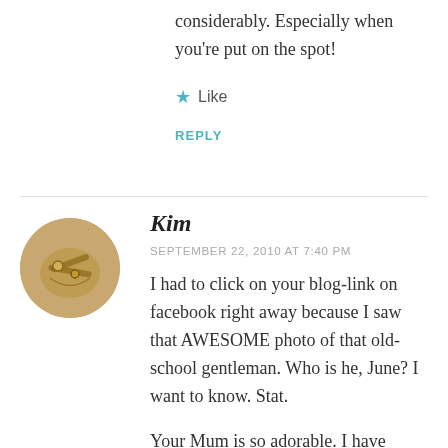considerably. Especially when you're put on the spot!
★ Like
REPLY
[Figure (photo): Circular avatar photo showing keys and decorative objects with warm golden/brown tones]
Kim
SEPTEMBER 22, 2010 AT 7:40 PM
I had to click on your blog-link on facebook right away because I saw that AWESOME photo of that old-school gentleman. Who is he, June? I want to know. Stat.
Your Mum is so adorable. I have problems